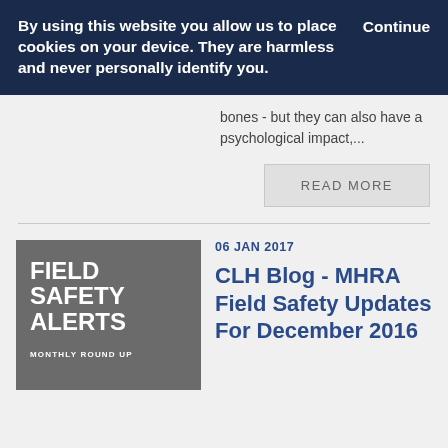By using this website you allow us to place cookies on your device. They are harmless and never personally identify you.
Continue
bones - but they can also have a psychological impact,...
READ MORE
[Figure (illustration): Field Safety Alerts Monthly Round Up graphic with dark background and text overlay]
06 JAN 2017
CLH Blog - MHRA Field Safety Updates For December 2016